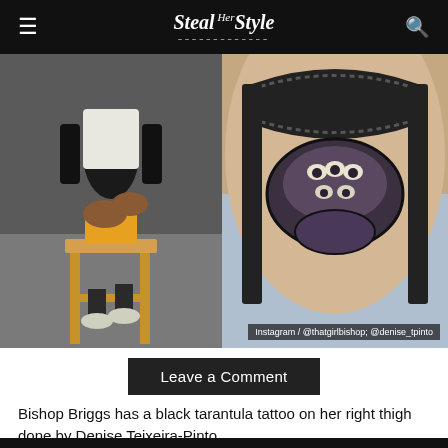Steal Her Style
[Figure (photo): Left: Bishop Briggs sitting on a stool wearing yellow shorts, white top, black jacket, white sneakers. Right: Close-up of a black tarantula tattoo on skin.]
Instagram / @thatgirlbishop; @denise_tpinto
Leave a Comment
Bishop Briggs has a black tarantula tattoo on her right thigh done by Denise Teixeira-Pinto.
(more...)